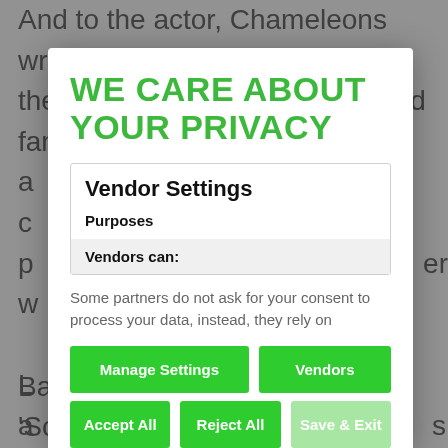And to the actor, Chameleons wrote: 'A child is a reflection of their Parents and we are a proud family a... c... p... w... er L... a... th... m... b... c... It... a... re... ju... Badilisha was the East Africa 'Song of the Year' in the
WE CARE ABOUT YOUR PRIVACY
Vendor Settings
Purposes
Vendors can:
Some partners do not ask for your consent to process your data, instead, they rely on
Manage Settings
Vendors
Accept All
Reject All
Save & Exit